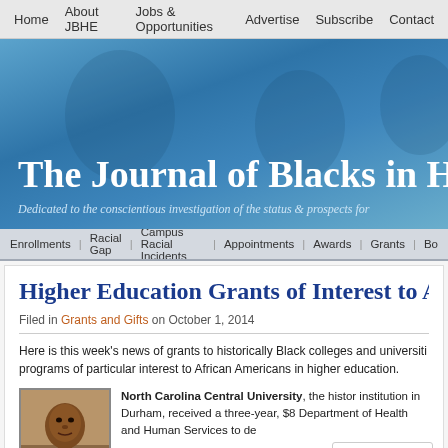Home | About JBHE | Jobs & Opportunities | Advertise | Subscribe | Contact
[Figure (logo): The Journal of Blacks in Higher Education banner with blue gradient background. Title reads 'The Journal of Blacks in Hi' (truncated). Subtitle: 'Dedicated to the conscientious investigation of the status & prospects for']
Enrollments | Racial Gap | Campus Racial Incidents | Appointments | Awards | Grants | Bo
Higher Education Grants of Interest to Afri
Filed in Grants and Gifts on October 1, 2014
Here is this week's news of grants to historically Black colleges and universities and programs of particular interest to African Americans in higher education.
[Figure (photo): Headshot photo of an African American man]
North Carolina Central University, the historically Black institution in Durham, received a three-year, $8 from the Department of Health and Human Services to de...